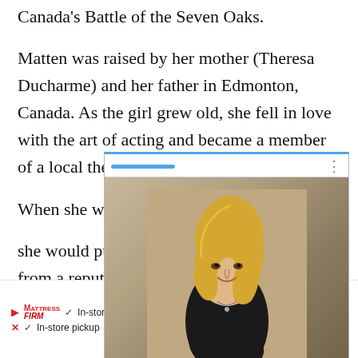Canada's Battle of the Seven Oaks.
Matten was raised by her mother (Theresa Ducharme) and her father in Edmonton, Canada. As the girl grew old, she fell in love with the art of acting and became a member of a local the...
[Figure (photo): Popup overlay card showing a photo of a young blonde woman in a black outfit, arms crossed, smiling. The card has a blue top progress bar, a navigation arrow button, and an inner ad overlay with a blue bar and white box. A 'Close X' button is visible.]
When she w... t she would pu... from a reput... a bachelor's...
[Figure (infographic): Bottom advertisement bar: Mattress Firm logo with play icon, checkmarks for 'In-store shopping', 'In-store pickup', 'Delivery', and a blue navigation diamond icon on the right.]